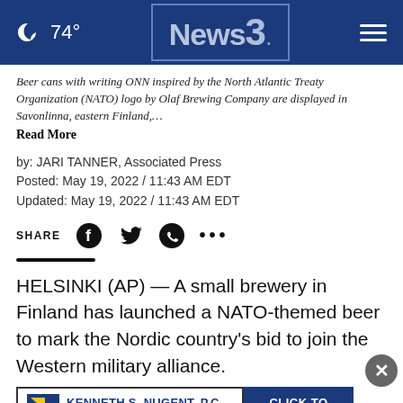🌙 74° News3. ☰
Beer cans with writing ONN inspired by the North Atlantic Treaty Organization (NATO) logo by Olaf Brewing Company are displayed in Savonlinna, eastern Finland,…
Read More
by: JARI TANNER, Associated Press
Posted: May 19, 2022 / 11:43 AM EDT
Updated: May 19, 2022 / 11:43 AM EDT
SHARE [Facebook] [Twitter] [WhatsApp] [...]
HELSINKI (AP) — A small brewery in Finland has launched a NATO-themed beer to mark the Nordic country's bid to join the Western military alliance.
Olaf B… with a cartoon version of a beer-drinking medieval knight in
[Figure (other): Advertisement banner: Kenneth S. Nugent, P.C. Attorneys at Law — Click to Expand]